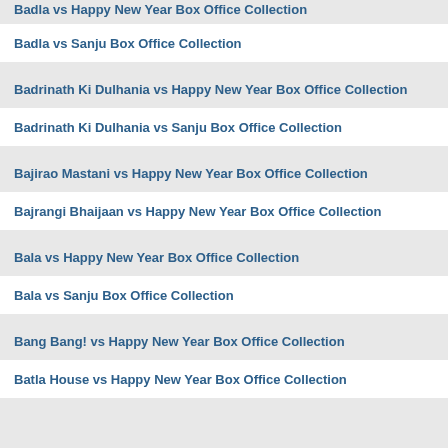Badla vs Happy New Year Box Office Collection
Badla vs Sanju Box Office Collection
Badrinath Ki Dulhania vs Happy New Year Box Office Collection
Badrinath Ki Dulhania vs Sanju Box Office Collection
Bajirao Mastani vs Happy New Year Box Office Collection
Bajrangi Bhaijaan vs Happy New Year Box Office Collection
Bala vs Happy New Year Box Office Collection
Bala vs Sanju Box Office Collection
Bang Bang! vs Happy New Year Box Office Collection
Batla House vs Happy New Year Box Office Collection